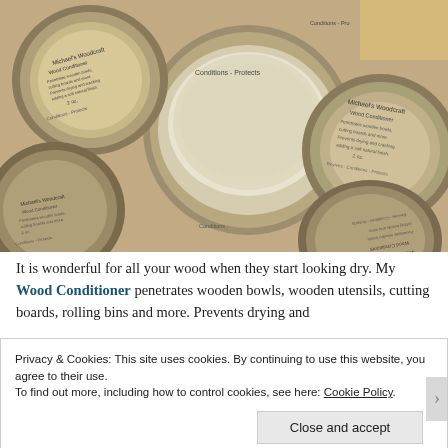[Figure (photo): Multiple small metal tins of Michael's Woodcraft Wood Conditioner product, arranged overlapping each other. The tins have white labels reading 'Michael's Woodcraft Wood Conditioner — Penetrates wooden bowls, utensils, cutting boards and more. Prevents drying and cracking, adding a soft natural finish. 2 oz. Revives - Conditions - Protects']
It is wonderful for all your wood when they start looking dry. My Wood Conditioner penetrates wooden bowls, wooden utensils, cutting boards, rolling bins and more. Prevents drying and
Privacy & Cookies: This site uses cookies. By continuing to use this website, you agree to their use.
To find out more, including how to control cookies, see here: Cookie Policy
Close and accept